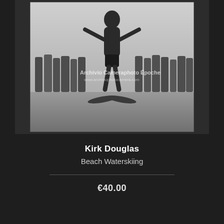[Figure (photo): Black and white photograph of Kirk Douglas water skiing on a beach, shirtless in swim trunks, with a crowd of spectators watching in the background. A watermark reads 'Archivio Cameraphoto Epoche' with a website URL.]
Kirk Douglas
Beach Waterskiing
€40.00